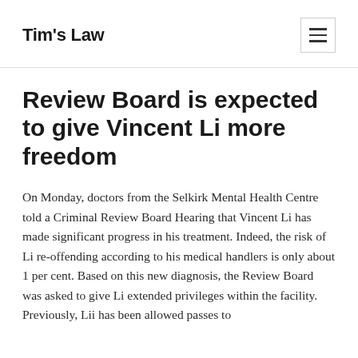Tim's Law
Review Board is expected to give Vincent Li more freedom
On Monday, doctors from the Selkirk Mental Health Centre told a Criminal Review Board Hearing that Vincent Li has made significant progress in his treatment. Indeed, the risk of Li re-offending according to his medical handlers is only about 1 per cent. Based on this new diagnosis, the Review Board was asked to give Li extended privileges within the facility. Previously, Lii has been allowed passes to